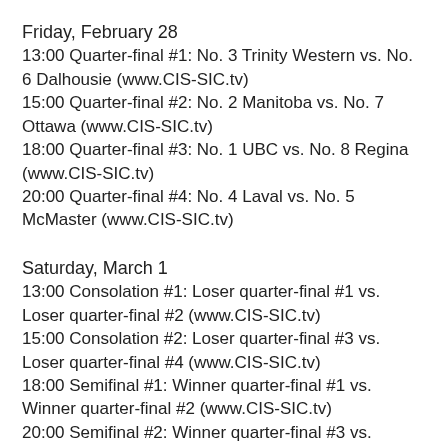Friday, February 28
13:00 Quarter-final #1: No. 3 Trinity Western vs. No. 6 Dalhousie (www.CIS-SIC.tv)
15:00 Quarter-final #2: No. 2 Manitoba vs. No. 7 Ottawa (www.CIS-SIC.tv)
18:00 Quarter-final #3: No. 1 UBC vs. No. 8 Regina (www.CIS-SIC.tv)
20:00 Quarter-final #4: No. 4 Laval vs. No. 5 McMaster (www.CIS-SIC.tv)
Saturday, March 1
13:00 Consolation #1: Loser quarter-final #1 vs. Loser quarter-final #2 (www.CIS-SIC.tv)
15:00 Consolation #2: Loser quarter-final #3 vs. Loser quarter-final #4 (www.CIS-SIC.tv)
18:00 Semifinal #1: Winner quarter-final #1 vs. Winner quarter-final #2 (www.CIS-SIC.tv)
20:00 Semifinal #2: Winner quarter-final #3 vs. Winner quarter-final #4 (www.CIS-SIC.tv)
Sunday, March 2